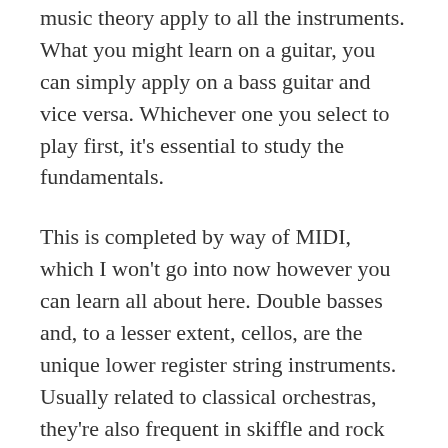music theory apply to all the instruments. What you might learn on a guitar, you can simply apply on a bass guitar and vice versa. Whichever one you select to play first, it's essential to study the fundamentals.
This is completed by way of MIDI, which I won't go into now however you can learn all about here. Double basses and, to a lesser extent, cellos, are the unique lower register string instruments. Usually related to classical orchestras, they're also frequent in skiffle and rock 'n' roll bands.
That kind of bass doesn't add a